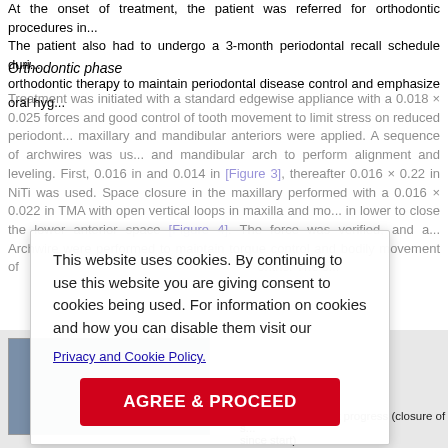At the onset of treatment, the patient was referred for orthodontic procedures in... The patient also had to undergo a 3-month periodontal recall schedule during orthodontic therapy to maintain periodontal disease control and emphasize oral hyg...
Orthodontic phase
Treatment was initiated with a standard edgewise appliance with a 0.018 × 0.025 forces and good control of tooth movement to limit stress on reduced periodont... maxillary and mandibular anteriors were applied. A sequence of archwires was us... and mandibular arch to perform alignment and leveling. First, 0.016 in and 0.014 in [Figure 3], thereafter 0.016 × 0.22 in NiTi was used. Space closure in the maxillary performed with a 0.016 × 0.022 in TMA with open vertical loops in maxilla and mo... in lower to close the lower anterior space [Figure 4]. The force was verified, and a... Archwire were performed to maintain torque control and bodily movement of... months. The s...
[Figure (photo): Treatment progress images (beginning of orthodontic phase)]
Figure 3. Treatment progress (beginning of orthodontic phase)
[Figure (photo): Treatment progress photo (closure of space since start)]
Figure 4. Treatment progress (closure of s... since start)
This website uses cookies. By continuing to use this website you are giving consent to cookies being used. For information on cookies and how you can disable them visit our
Privacy and Cookie Policy.
AGREE & PROCEED